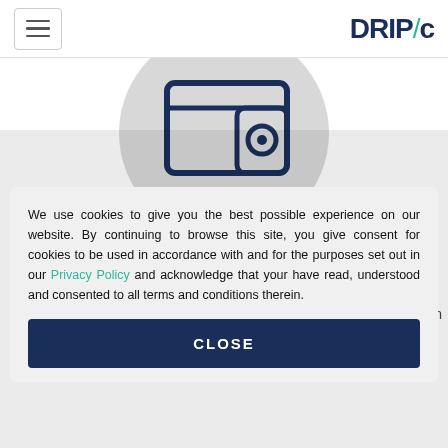DRIP/c (logo) with hamburger menu
[Figure (illustration): A wallet icon (dark navy outline) on a light grey circular background, shown partially cropped at the top]
Get Commission
are paid on
We use cookies to give you the best possible experience on our website. By continuing to browse this site, you give consent for cookies to be used in accordance with and for the purposes set out in our Privacy Policy and acknowledge that your have read, understood and consented to all terms and conditions therein.
CLOSE